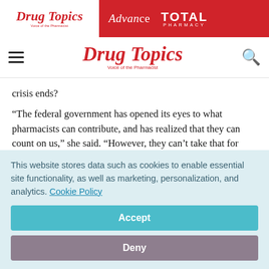Drug Topics | Advance | TOTAL PHARMACY
Drug Topics — Voice of the Pharmacist
crisis ends?
“The federal government has opened its eyes to what pharmacists can contribute, and has realized that they can count on us,” she said. “However, they can’t take that for granted. We need permanent authority and sustainability for the services we provide,” she added, to a round of applause
This website stores data such as cookies to enable essential site functionality, as well as marketing, personalization, and analytics. Cookie Policy
Accept
Deny